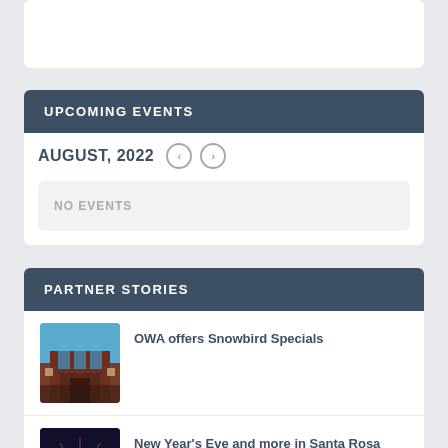[Figure (other): White card area at top of page]
UPCOMING EVENTS
AUGUST, 2022
NO EVENTS
PARTNER STORIES
[Figure (photo): OWA building exterior photo with blue sky]
OWA offers Snowbird Specials
[Figure (photo): New Year's Eve fireworks/lights photo dark background with colored lights]
New Year's Eve and more in Santa Rosa